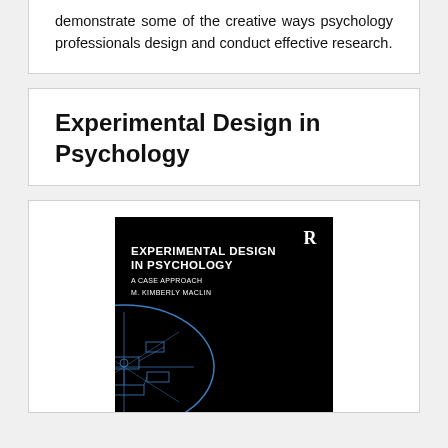demonstrate some of the creative ways psychology professionals design and conduct effective research.
Experimental Design in Psychology
[Figure (photo): Book cover of 'Experimental Design in Psychology: A Case Approach' by M. Kimberly Maclin, published by Routledge. Black cover with white text and a blue circuit-board style brain illustration.]